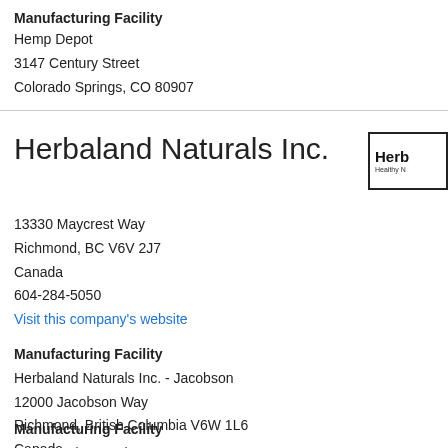Manufacturing Facility
Hemp Depot
3147 Century Street
Colorado Springs, CO 80907
Herbaland Naturals Inc.
[Figure (logo): Herbaland Naturals Inc. logo — bold text 'Herb' with 'Healthy N' subtitle in a bordered box]
13330 Maycrest Way
Richmond, BC V6V 2J7
Canada
604-284-5050
Visit this company's website
Manufacturing Facility
Herbaland Naturals Inc. - Jacobson
12000 Jacobson Way
Richmond, British Columbia V6W 1L6
Canada
Manufacturing Facility
Herbaland Naturals Inc.